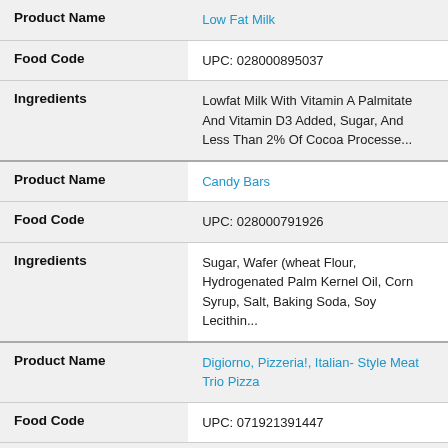| Field | Value |
| --- | --- |
| Product Name | Low Fat Milk |
| Food Code | UPC: 028000895037 |
| Ingredients | Lowfat Milk With Vitamin A Palmitate And Vitamin D3 Added, Sugar, And Less Than 2% Of Cocoa Processe... |
| Product Name | Candy Bars |
| Food Code | UPC: 028000791926 |
| Ingredients | Sugar, Wafer (wheat Flour, Hydrogenated Palm Kernel Oil, Corn Syrup, Salt, Baking Soda, Soy Lecithin... |
| Product Name | Digiorno, Pizzeria!, Italian- Style Meat Trio Pizza |
| Food Code | UPC: 071921391447 |
| Ingredients | Enriched Wheat Flour (wheat Flour, Niacin, |